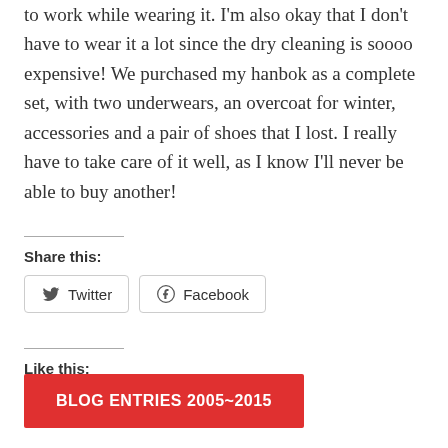to work while wearing it. I'm also okay that I don't have to wear it a lot since the dry cleaning is soooo expensive! We purchased my hanbok as a complete set, with two underwears, an overcoat for winter, accessories and a pair of shoes that I lost. I really have to take care of it well, as I know I'll never be able to buy another!
Share this:
Twitter
Facebook
Like this:
Loading...
BLOG ENTRIES 2005~2015